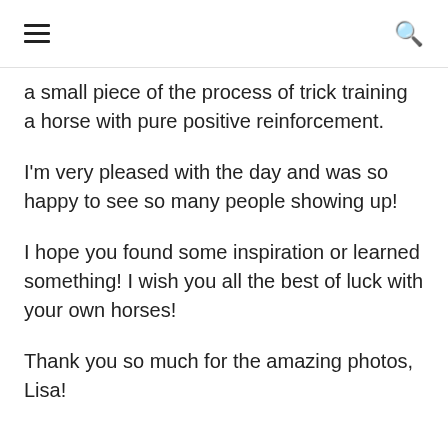☰ 🔍
a small piece of the process of trick training a horse with pure positive reinforcement.
I'm very pleased with the day and was so happy to see so many people showing up!
I hope you found some inspiration or learned something! I wish you all the best of luck with your own horses!
Thank you so much for the amazing photos, Lisa!